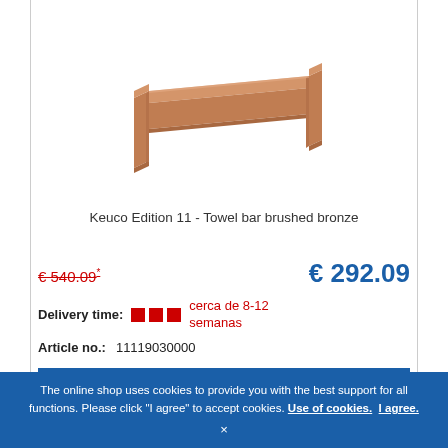[Figure (photo): Keuco Edition 11 towel bar in brushed bronze finish, a rectangular U-shaped metal bar viewed at an angle]
Keuco Edition 11 - Towel bar brushed bronze
€ 540.09* (strikethrough old price)   € 292.09 (new price in blue)
Delivery time: [red squares] cerca de 8-12 semanas
Article no.: 11119030000
ADD TO CART
The online shop uses cookies to provide you with the best support for all functions. Please click "I agree" to accept cookies. Use of cookies.  I agree.